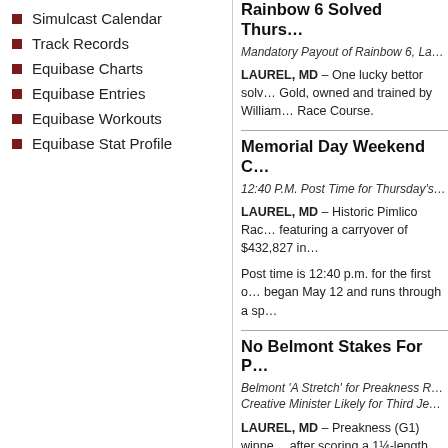Simulcast Calendar
Track Records
Equibase Charts
Equibase Entries
Equibase Workouts
Equibase Stat Profile
Rainbow 6 Solved Thurs…
Mandatory Payout of Rainbow 6, La…
LAUREL, MD – One lucky bettor solv… Gold, owned and trained by William… Race Course.
Memorial Day Weekend C…
12:40 P.M. Post Time for Thursday's…
LAUREL, MD – Historic Pimlico Rac… featuring a carryover of $432,827 in…
Post time is 12:40 p.m. for the first o… began May 12 and runs through a sp…
No Belmont Stakes For P…
Belmont 'A Stretch' for Preakness R… Creative Minister Likely for Third Je…
LAUREL, MD – Preakness (G1) winne… after scoring a 1¼-length victory ove…
Early Voting Follows Gam…